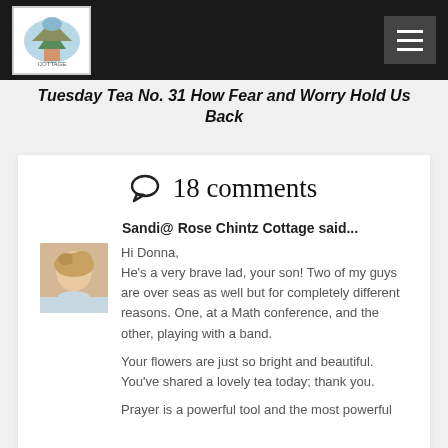Tuesday Tea No. 31 - How Fear and Worry Hold Us Back
Tuesday Tea No. 31 How Fear and Worry Hold Us Back
💬 18 comments
Sandi@ Rose Chintz Cottage said...
Hi Donna,
He's a very brave lad, your son! Two of my guys are over seas as well but for completely different reasons. One, at a Math conference, and the other, playing with a band.

Your flowers are just so bright and beautiful. You've shared a lovely tea today; thank you.

Prayer is a powerful tool and the most powerful